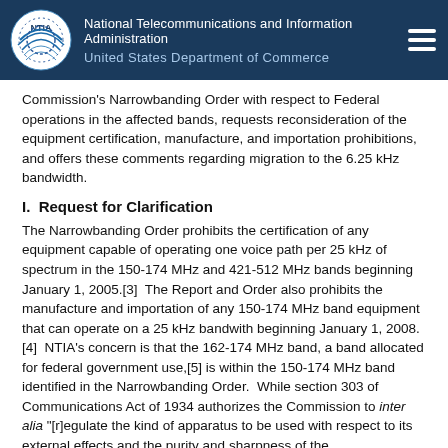National Telecommunications and Information Administration
United States Department of Commerce
Commission's Narrowbanding Order with respect to Federal operations in the affected bands, requests reconsideration of the equipment certification, manufacture, and importation prohibitions, and offers these comments regarding migration to the 6.25 kHz bandwidth.
I.  Request for Clarification
The Narrowbanding Order prohibits the certification of any equipment capable of operating one voice path per 25 kHz of spectrum in the 150-174 MHz and 421-512 MHz bands beginning January 1, 2005.[3]  The Report and Order also prohibits the manufacture and importation of any 150-174 MHz band equipment that can operate on a 25 kHz bandwith beginning January 1, 2008.[4]  NTIA's concern is that the 162-174 MHz band, a band allocated for federal government use,[5] is within the 150-174 MHz band identified in the Narrowbanding Order.  While section 303 of Communications Act of 1934 authorizes the Commission to inter alia "[r]egulate the kind of apparatus to be used with respect to its external effects and the purity and sharpness of the emissions from radio stations and from the...